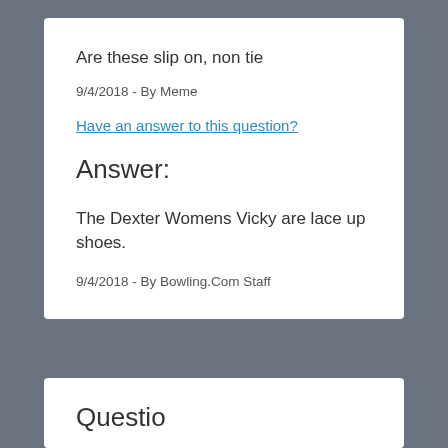Are these slip on, non tie
9/4/2018 - By Meme
Have an answer to this question?
Answer:
The Dexter Womens Vicky are lace up shoes.
9/4/2018 - By Bowling.Com Staff
Questio